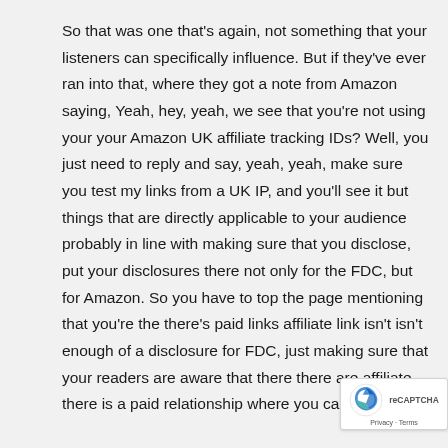So that was one that's again, not something that your listeners can specifically influence. But if they've ever ran into that, where they got a note from Amazon saying, Yeah, hey, yeah, we see that you're not using your your Amazon UK affiliate tracking IDs? Well, you just need to reply and say, yeah, yeah, make sure you test my links from a UK IP, and you'll see it but things that are directly applicable to your audience probably in line with making sure that you disclose, put your disclosures there not only for the FDC, but for Amazon. So you have to top the page mentioning that you're the there's paid links affiliate link isn't isn't enough of a disclosure for FDC, just making sure that your readers are aware that there there are affiliate, there is a paid relationship where you can earn
[Figure (logo): reCAPTCHA badge with logo and Privacy · Terms links]